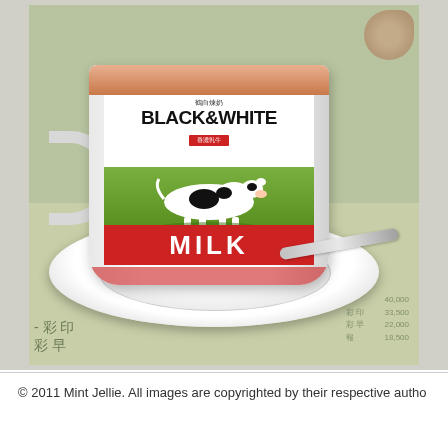[Figure (photo): A white ceramic tea/coffee cup sitting on a white saucer, placed on a Chinese newspaper. The cup features the 'Black & White MILK' brand logo with Chinese characters at top, the brand name 'BLACK&WHITE' in large bold text, a red badge with Chinese text, an illustration of a Holstein dairy cow on a green field, and the word 'MILK' in white letters on a red band at the bottom. A silver spoon rests on the saucer extending to the right. The image is cropped showing the top portion of the scene.]
© 2011 Mint Jellie. All images are copyrighted by their respective autho